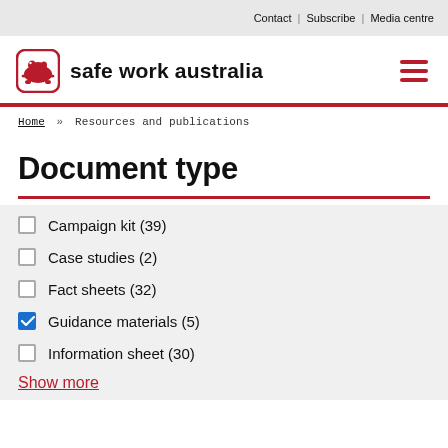Contact | Subscribe | Media centre
[Figure (logo): Safe Work Australia logo with wombat icon and text 'safe work australia']
Home » Resources and publications
Document type
Campaign kit (39)
Case studies (2)
Fact sheets (32)
Guidance materials (5) [checked]
Information sheet (30)
Show more